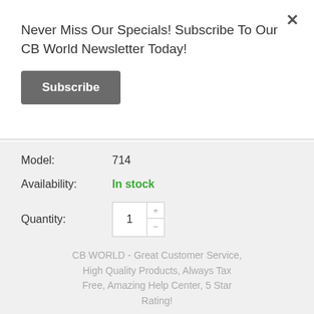Never Miss Our Specials! Subscribe To Our CB World Newsletter Today!
Subscribe
| Field | Value |
| --- | --- |
| Model: | 714 |
| Availability: | In stock |
| Quantity: | 1 |
CB WORLD - Great Customer Service, High Quality Products, Always Tax Free, Amazing Help Center, 5 Star Rating!
ADD TO CART